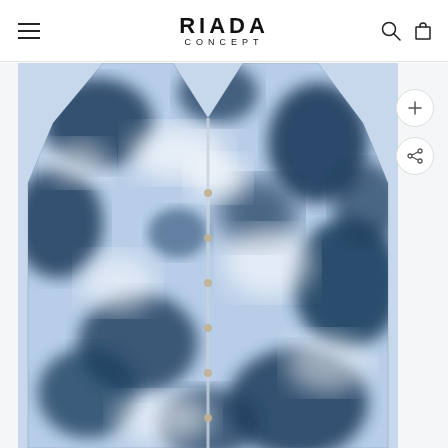RIADA CONCEPT — navigation header with hamburger menu, logo, search and cart icons
[Figure (photo): A blue and white tie-dye knit cardigan with V-neck and small metallic buttons down the front center, long sleeves, displayed on a model torso against a light grey background.]